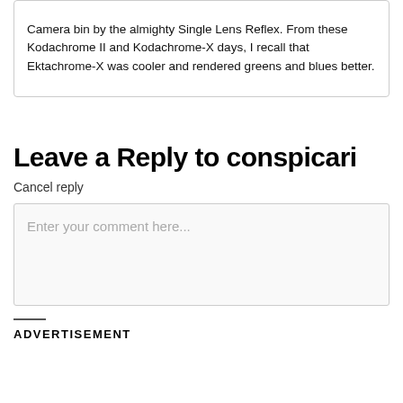Camera bin by the almighty Single Lens Reflex. From these Kodachrome II and Kodachrome-X days, I recall that Ektachrome-X was cooler and rendered greens and blues better.
Leave a Reply to conspicari Cancel reply
Enter your comment here...
ADVERTISEMENT